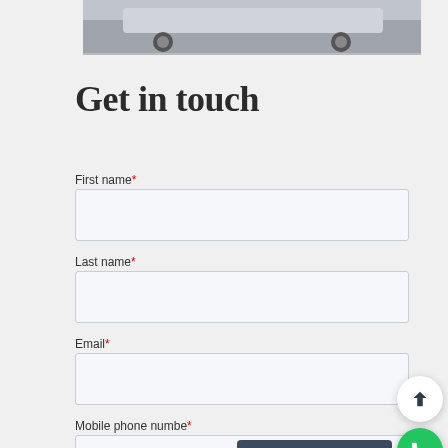[Figure (photo): Partial view of a car (SUV) photographed from the rear quarter, showing wheels and lower body on a grey surface. Image is cropped at the top.]
Get in touch
First name*
Last name*
Email*
Mobile phone number*
Call Now: 0800 048 7585